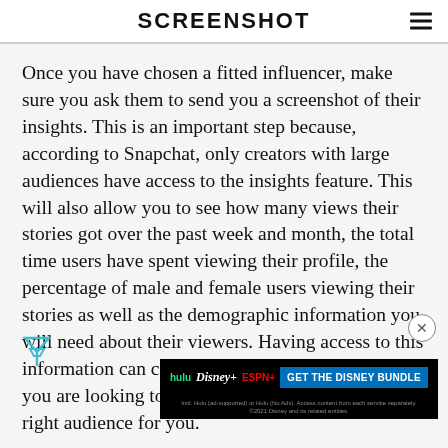SCREENSHOT
Once you have chosen a fitted influencer, make sure you ask them to send you a screenshot of their insights. This is an important step because, according to Snapchat, only creators with large audiences have access to the insights feature. This will also allow you to see how many views their stories got over the past week and month, the total time users have spent viewing their profile, the percentage of male and female users viewing their stories as well as the demographic information you will need about their viewers. Having access to this information can confirm whether the influencer you are looking to promote your OnlyFans has the right audience for you.
[Figure (screenshot): Disney Bundle advertisement banner showing Hulu, Disney+, and ESPN+ logos with a blue 'GET THE DISNEY BUNDLE' call-to-action button and fine print text.]